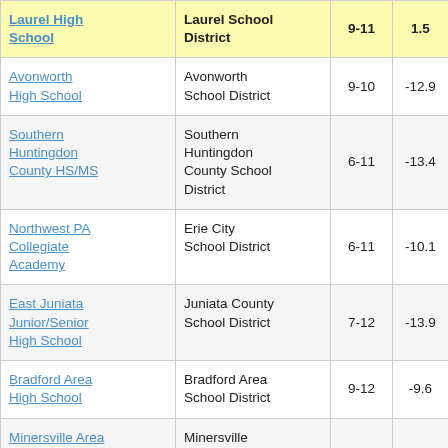| School | District | Grades | Col4 | Col5 |
| --- | --- | --- | --- | --- |
| Laurel High School | Laurel School District | 9-11 | 1.5 | 3 |
| Avonworth High School | Avonworth School District | 9-10 | -12.9 |  |
| Southern Huntingdon County HS/MS | Southern Huntingdon County School District | 6-11 | -13.4 |  |
| Northwest PA Collegiate Academy | Erie City School District | 6-11 | -10.1 |  |
| East Juniata Junior/Senior High School | Juniata County School District | 7-12 | -13.9 |  |
| Bradford Area High School | Bradford Area School District | 9-12 | -9.6 |  |
| Minersville Area Junior/Senior High School | Minersville Area School District | 7-11 | -14.8 |  |